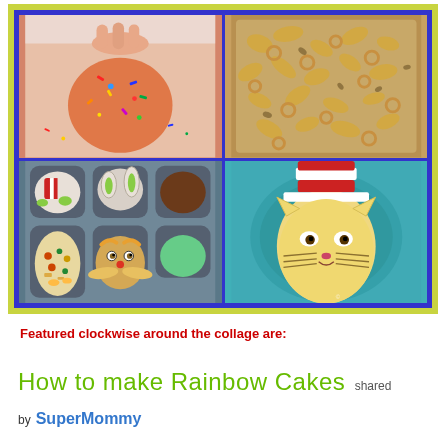[Figure (photo): A collage of four food/craft photos arranged in a 2x2 grid with a yellow-green outer border and blue inner border. Top-left: hands holding a colorful sprinkle-covered dough ball. Top-right: a tray of mixed cereals. Bottom-left: a muffin tin with various dipping sauces and a Lorax-themed sandwich. Bottom-right: a Cat in the Hat themed food face on a teal plate.]
Featured clockwise around the collage are:
How to make Rainbow Cakes shared
by SuperMommy